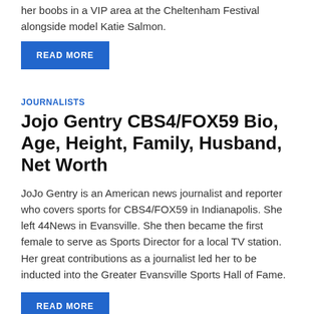her boobs in a VIP area at the Cheltenham Festival alongside model Katie Salmon.
READ MORE
JOURNALISTS
Jojo Gentry CBS4/FOX59 Bio, Age, Height, Family, Husband, Net Worth
JoJo Gentry is an American news journalist and reporter who covers sports for CBS4/FOX59 in Indianapolis. She left 44News in Evansville. She then became the first female to serve as Sports Director for a local TV station. Her great contributions as a journalist led her to be inducted into the Greater Evansville Sports Hall of Fame.
READ MORE